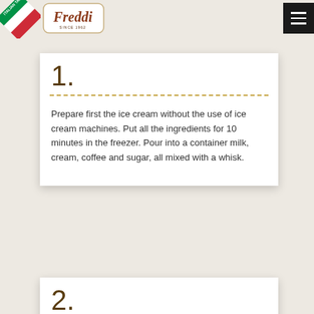Freddi - Italian Taste
1.
Prepare first the ice cream without the use of ice cream machines. Put all the ingredients for 10 minutes in the freezer. Pour into a container milk, cream, coffee and sugar, all mixed with a whisk.
2.